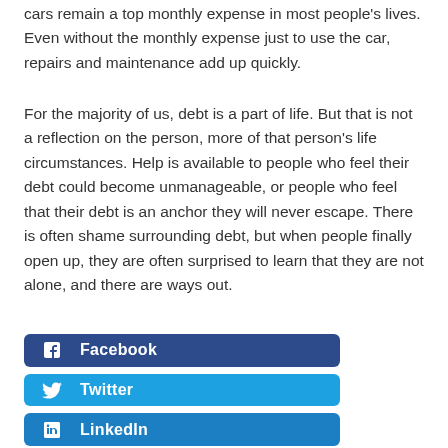cars remain a top monthly expense in most people's lives. Even without the monthly expense just to use the car, repairs and maintenance add up quickly.
For the majority of us, debt is a part of life. But that is not a reflection on the person, more of that person's life circumstances. Help is available to people who feel their debt could become unmanageable, or people who feel that their debt is an anchor they will never escape. There is often shame surrounding debt, but when people finally open up, they are often surprised to learn that they are not alone, and there are ways out.
Facebook
Twitter
LinkedIn